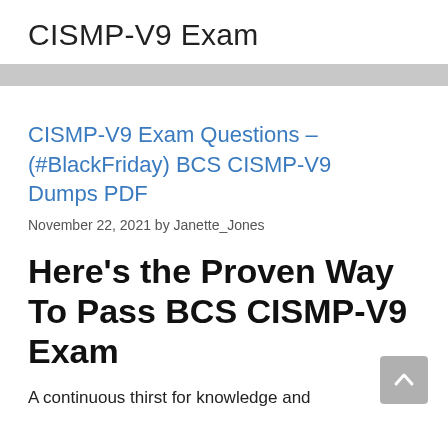CISMP-V9 Exam
CISMP-V9 Exam Questions – (#BlackFriday) BCS CISMP-V9 Dumps PDF
November 22, 2021 by Janette_Jones
Here's the Proven Way To Pass BCS CISMP-V9 Exam
A continuous thirst for knowledge and